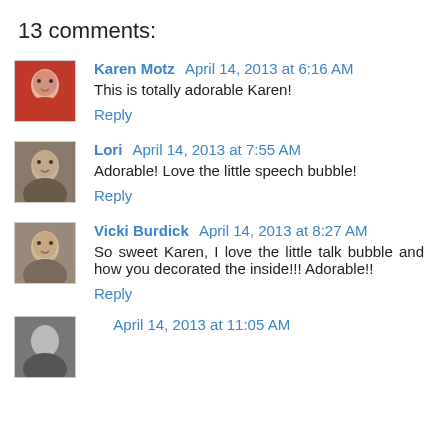13 comments:
Karen Motz  April 14, 2013 at 6:16 AM
This is totally adorable Karen!
Reply
Lori  April 14, 2013 at 7:55 AM
Adorable! Love the little speech bubble!
Reply
Vicki Burdick  April 14, 2013 at 8:27 AM
So sweet Karen, I love the little talk bubble and how you decorated the inside!!! Adorable!!
Reply